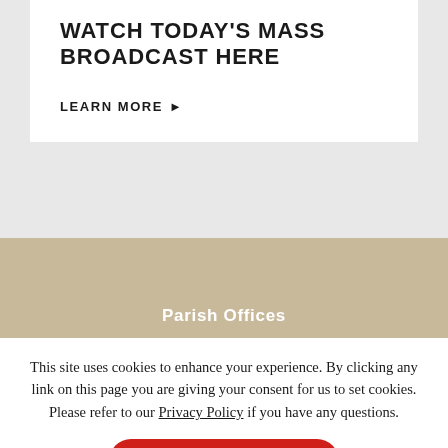WATCH TODAY'S MASS BROADCAST HERE
LEARN MORE ▶
Parish Offices
This site uses cookies to enhance your experience. By clicking any link on this page you are giving your consent for us to set cookies. Please refer to our Privacy Policy if you have any questions.
DISMISS